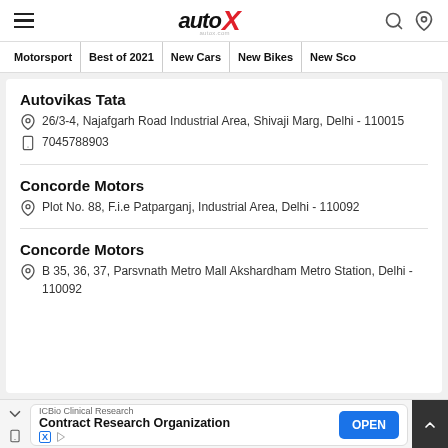autoX navigation header
Motorsport | Best of 2021 | New Cars | New Bikes | New Sco
Autovikas Tata
26/3-4, Najafgarh Road Industrial Area, Shivaji Marg, Delhi - 110015
7045788903
Concorde Motors
Plot No. 88, F.i.e Patparganj, Industrial Area, Delhi - 110092
Concorde Motors
B 35, 36, 37, Parsvnath Metro Mall Akshardham Metro Station, Delhi - 110092
ICBio Clinical Research — Contract Research Organization — OPEN